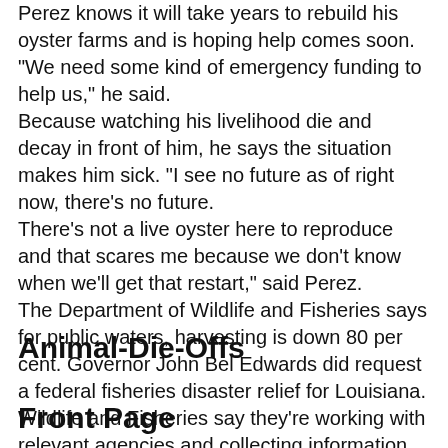Perez knows it will take years to rebuild his oyster farms and is hoping help comes soon.
"We need some kind of emergency funding to help us," he said.
Because watching his livelihood die and decay in front of him, he says the situation makes him sick. "I see no future as of right now, there's no future.
There's not a live oyster here to reproduce and that scares me because we don't know when we'll get that restart," said Perez.
The Department of Wildlife and Fisheries says for public waters, harvesting is down 80 per cent. Governor John Bel Edwards did request a federal fisheries disaster relief for Louisiana.
Wildlife and Fisheries say they're working with relevant agencies and collecting information, but it will take time until anything is decided.
Animal-Die-Offs
Front Page